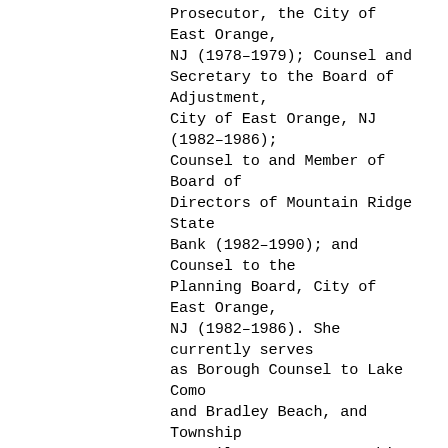Prosecutor, the City of East Orange, NJ (1978–1979); Counsel and Secretary to the Board of Adjustment, City of East Orange, NJ (1982–1986); Counsel to and Member of Board of Directors of Mountain Ridge State Bank (1982–1990); and Counsel to the Planning Board, City of East Orange, NJ (1982–1986). She currently serves as Borough Counsel to Lake Como and Bradley Beach, and Township Council to Monroe Township, Middlesex County, NJ. She negotiated and drafted Monroe's tree preservation ordinance which survived a legal challenge by the New Jersey Builders Association. She also successfully defended Monroe Township's age-restricted housing ordinance against a challenge under the American's with Disabilities Act